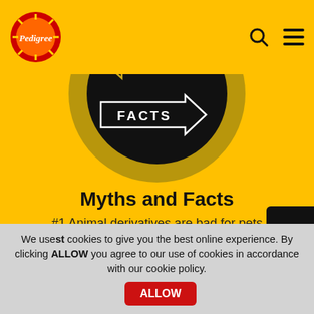[Figure (screenshot): Pedigree website screenshot showing Myths and Facts page. Yellow background with large black circle containing arrow signs for MYTHS (pointing left) and FACTS (pointing right). Pedigree logo top left, search and menu icons top right.]
Myths and Facts
#1 Animal derivatives are bad for pets
The wild relatives of dogs (wolves) eat a prey-based diet and rea...
CONTACT US
Know More  ›
We usest cookies to give you the best online experience. By clicking ALLOW you agree to our use of cookies in accordance with our cookie policy.
ALLOW